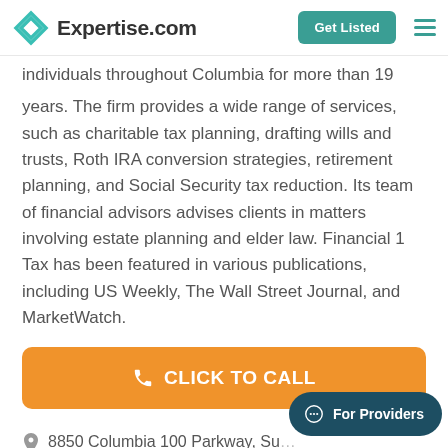Expertise.com
individuals throughout Columbia for more than 19 years. The firm provides a wide range of services, such as charitable tax planning, drafting wills and trusts, Roth IRA conversion strategies, retirement planning, and Social Security tax reduction. Its team of financial advisors advises clients in matters involving estate planning and elder law. Financial 1 Tax has been featured in various publications, including US Weekly, The Wall Street Journal, and MarketWatch.
CLICK TO CALL
8850 Columbia 100 Parkway, Su— Columbia, MD 21045
For Providers